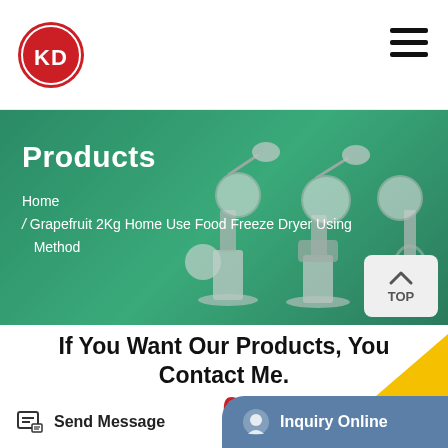[Figure (logo): KD logo in red circle, top left]
[Figure (illustration): Hamburger menu icon, three horizontal lines, top right]
[Figure (photo): Green banner with lab equipment (rotary evaporators) silhouetted on right side]
Products
Home / Grapefruit 2Kg Home Use Food Freeze Dryer Using Method
[Figure (illustration): TOP button with upward arrow, bottom right of banner]
If You Want Our Products, You Contact Me.
email:sales002@zzkdinst
Send Message | Inquiry Online